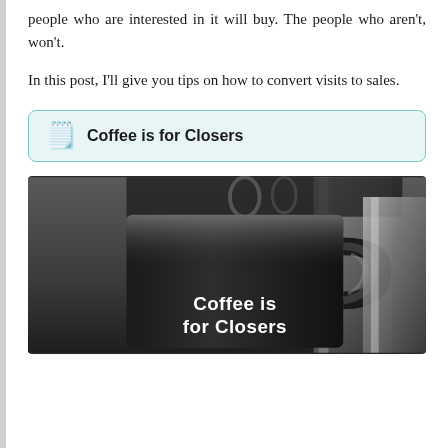people who are interested in it will buy. The people who aren't, won't.
In this post, I'll give you tips on how to convert visits to sales.
Coffee is for Closers
[Figure (photo): A black coffee mug with the text 'Coffee is for Closers' printed in white bold letters on it, with metallic coffee maker equipment visible in the background.]